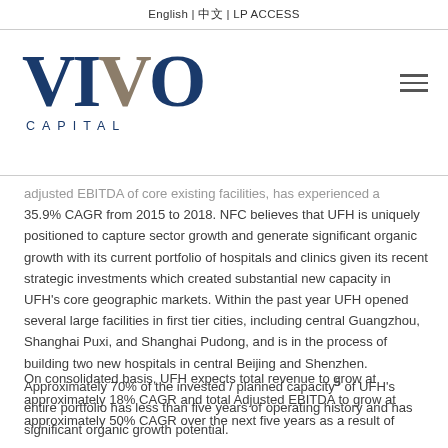English | 中文 | LP ACCESS
[Figure (logo): VIVO Capital logo with large blue VI and tan O letters, and CAPITAL text below in spaced blue letters]
adjusted EBITDA of core existing facilities, has experienced a 35.9% CAGR from 2015 to 2018. NFC believes that UFH is uniquely positioned to capture sector growth and generate significant organic growth with its current portfolio of hospitals and clinics given its recent strategic investments which created substantial new capacity in UFH's core geographic markets. Within the past year UFH opened several large facilities in first tier cities, including central Guangzhou, Shanghai Puxi, and Shanghai Pudong, and is in the process of building two new hospitals in central Beijing and Shenzhen. Approximately 70% of the invested / planned capacity⁵ of UFH's entire portfolio has less than five years of operating history and has significant organic growth potential.
On consolidated basis, UFH expects total revenue to grow at approximately 18% CAGR and total Adjusted EBITDA to grow at approximately 50% CAGR over the next five years as a result of